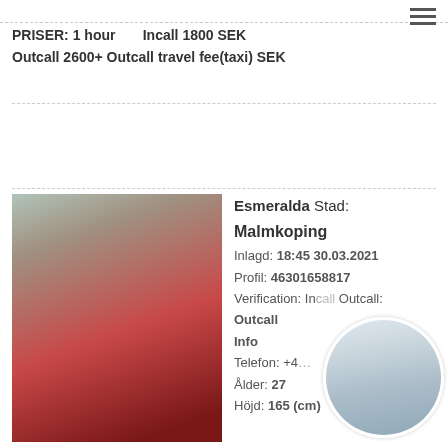PRISER: 1 hour   Incall 1800 SEK   Outcall 2600+ Outcall travel fee(taxi) SEK
Prioritetsannons
[Figure (photo): Woman in red long-sleeve dress sitting outdoors]
Esmeralda Stad: Malmkoping
Inlagd: 18:45 30.03.2021
Profil: 46301658817
Verification: Incall Outcall:
Outcall
Info
Telefon: +4...
Ålder: 27
Höjd: 165 (cm)
[Figure (photo): Circular overlay thumbnail photo]